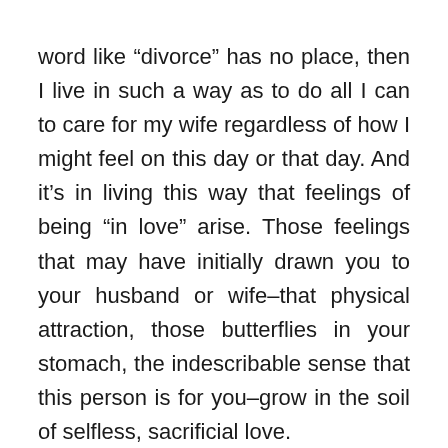word like “divorce” has no place, then I live in such a way as to do all I can to care for my wife regardless of how I might feel on this day or that day. And it’s in living this way that feelings of being “in love” arise. Those feelings that may have initially drawn you to your husband or wife–that physical attraction, those butterflies in your stomach, the indescribable sense that this person is for you–grow in the soil of selfless, sacrificial love.
Erosion of this sort of mature, committed relationship is nearly epidemic in our culture. Narcissism abounds. Life is about “me.” Trends suggest that emerging adults are putting off